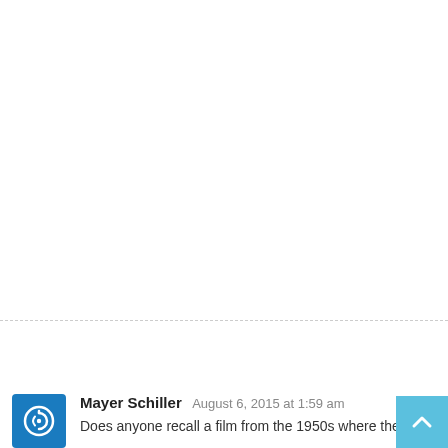Mayer Schiller August 6, 2015 at 1:59 am
Does anyone recall a film from the 1950s where the